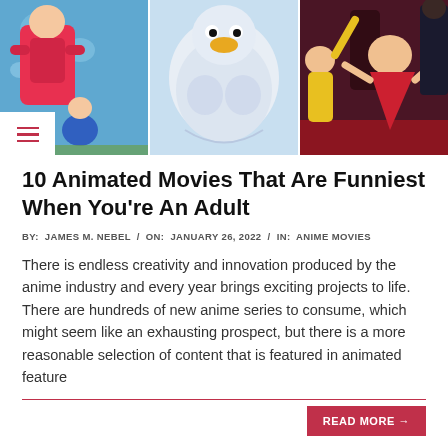[Figure (illustration): Three anime movie stills side by side: left panel shows anime characters in red/blue, center shows a large muscular bird/penguin character in light blue, right shows anime characters in a dark red room setting]
10 Animated Movies That Are Funniest When You're An Adult
BY: JAMES M. NEBEL / ON: JANUARY 26, 2022 / IN: ANIME MOVIES
There is endless creativity and innovation produced by the anime industry and every year brings exciting projects to life. There are hundreds of new anime series to consume, which might seem like an exhausting prospect, but there is a more reasonable selection of content that is featured in animated feature
READ MORE →